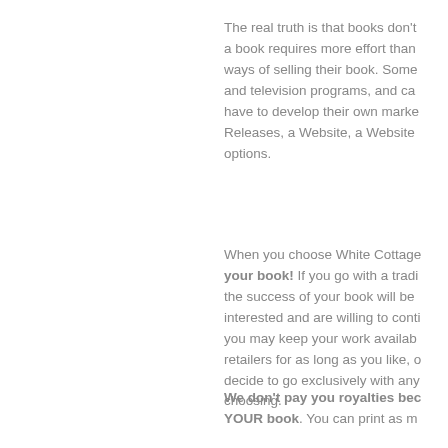The real truth is that books don't sell themselves — a book requires more effort than writing it. There are many ways of selling their book. Some appear on radio programs and television programs, and can arrange book signings — have to develop their own marketing plans such as Press Releases, a Website, a Website — and many more options.
When you choose White Cottage, you are in control of your book! If you go with a traditional publisher, the success of your book will be up to whether they are interested and are willing to continue to promote it. With us, you may keep your work available through multiple retailers for as long as you like, or at any time you may decide to go exclusively with any retailer of your own choosing.
We don't pay you royalties because it is YOUR book. You can print as m...